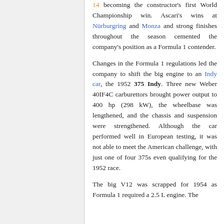14 becoming the constructor's first World Championship win. Ascari's wins at Nürburgring and Monza and strong finishes throughout the season cemented the company's position as a Formula 1 contender.
Changes in the Formula 1 regulations led the company to shift the big engine to an Indy car, the 1952 375 Indy. Three new Weber 40IF4C carburettors brought power output to 400 hp (298 kW), the wheelbase was lengthened, and the chassis and suspension were strengthened. Although the car performed well in European testing, it was not able to meet the American challenge, with just one of four 375s even qualifying for the 1952 race.
The big V12 was scrapped for 1954 as Formula 1 required a 2.5 L engine. The